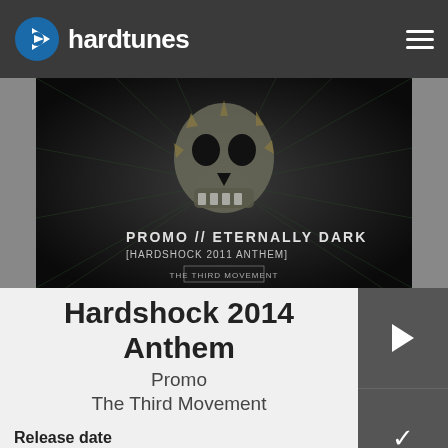hardtunes
[Figure (photo): Dark album artwork showing a skull with metallic/crystalline effects. Text overlay reads: PROMO // ETERNALLY DARK [HARDSHOCK 2011 ANTHEM] and THE THIRD MOVEMENT logo at bottom.]
Hardshock 2014 Anthem
Promo
The Third Movement
Release date
12.03.2014
Style
Hardcore
Code